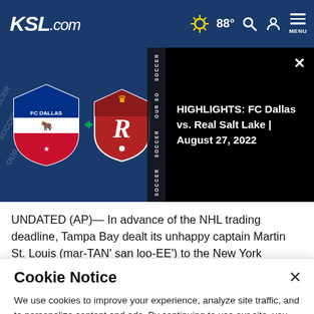KSL.com | 88° | Search | Account | MENU
[Figure (screenshot): Video thumbnail showing FC Dallas vs Real Salt Lake logos on dark blue background with soccer branding]
HIGHLIGHTS: FC Dallas vs. Real Salt Lake | August 27, 2022
UNDATED (AP)— In advance of the NHL trading deadline, Tampa Bay dealt its unhappy captain Martin St. Louis (mar-TAN' san loo-EE') to the New York Rangers for their rugged
Cookie Notice
We use cookies to improve your experience, analyze site traffic, and to personalize content and ads. By continuing to use our site, you consent to our use of cookies. Please visit our Terms of Use and  Privacy Policy for more information